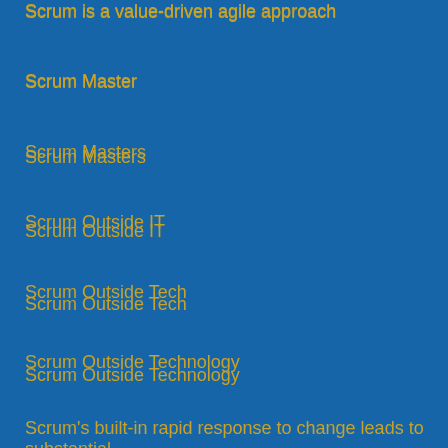Scrum is a value-driven agile approach
Scrum Master
Scrum Masters
Scrum Outside IT
Scrum Outside Tech
Scrum Outside Technology
Scrum roles
Scrum Story
Scrum Values
Scrum's built-in rapid response to change leads to substantial